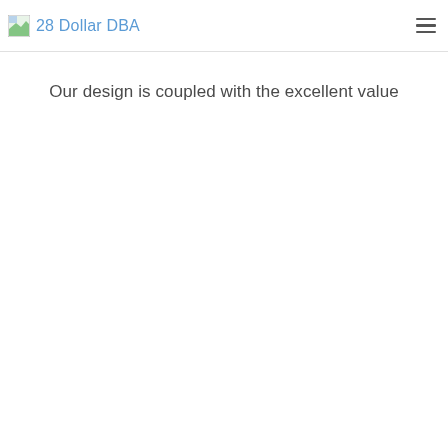28 Dollar DBA
Our design is coupled with the excellent value